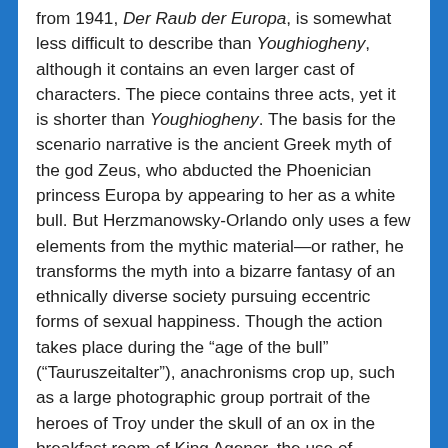from 1941, Der Raub der Europa, is somewhat less difficult to describe than Youghiogheny, although it contains an even larger cast of characters. The piece contains three acts, yet it is shorter than Youghiogheny. The basis for the scenario narrative is the ancient Greek myth of the god Zeus, who abducted the Phoenician princess Europa by appearing to her as a white bull. But Herzmanowsky-Orlando only uses a few elements from the mythic material—or rather, he transforms the myth into a bizarre fantasy of an ethnically diverse society pursuing eccentric forms of sexual happiness. Though the action takes place during the “age of the bull” (“Tauruszeitalter”), anachronisms crop up, such as a large photographic group portrait of the heroes of Troy under the skull of an ox in the breakfast room of King Agenor, the use of matches, the reading of a newspaper, the swinging of golf clubs, and female harlequins on the deck of Zeus’s ship. The long first act unfolds in the breakfast room of King Agenor’s palace in Phoenicia and depicts the hectic environment in